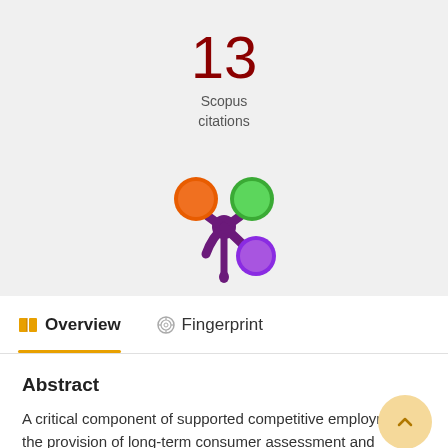13
Scopus
citations
[Figure (logo): Altmetric-style logo with orange, green, and purple circles connected by a purple splat shape]
Overview
Fingerprint
Abstract
A critical component of supported competitive employment is the provision of long-term consumer assessment and